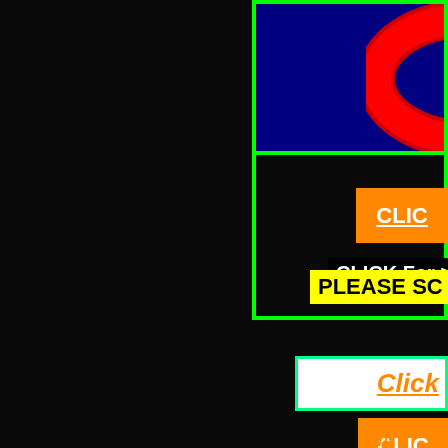[Figure (logo): Dark navy blue background with a red circular chevron/logo partially visible on the right side, framed by a bright green border]
CLICK For >A
[Figure (other): Orange button with white text partially reading 'CLIC']
PLEASE SC
[Figure (other): Green-bordered button with white interior and orange text reading 'Click']
WA